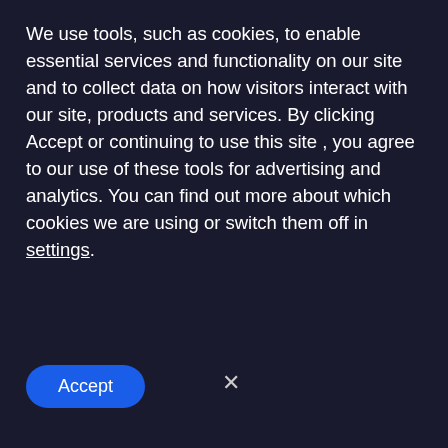[Figure (screenshot): Green progress/brand bar at top of page, approximately 290px wide]
We use tools, such as cookies, to enable essential services and functionality on our site and to collect data on how visitors interact with our site, products and services. By clicking Accept or continuing to use this site , you agree to our use of these tools for advertising and analytics. You can find out more about which cookies we are using or switch them off in settings.
[Figure (screenshot): Blue Accept button (pill/rounded shape) and an X close button on a dark cookie consent overlay]
[Figure (screenshot): Gray background with a white rounded rectangle card partially visible, an orange circle icon with up-arrow, a white chat popup saying 'We're Online! How may I help you toda...', a blue circular chat button with speech bubble icon, and partial text 'VULNERA' in dark red bold font at bottom]